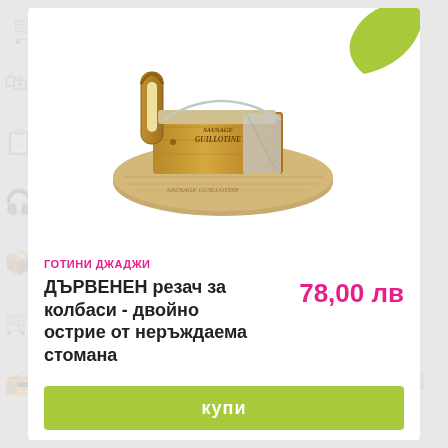[Figure (photo): Wooden sausage cutter / guillotine with dual stainless steel blades on an oval wooden base, branded 'Sausage Guillotine']
ГОТИНИ ДЖАДЖИ
ДЪРВЕНЕН резач за колбаси - двойно острие от неръждаема стомана
78,00 лв
КУПИ